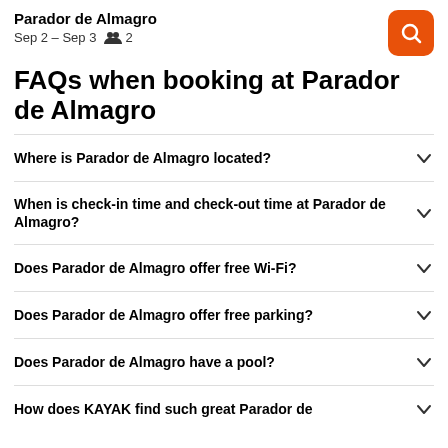Parador de Almagro
Sep 2 – Sep 3   👥 2
FAQs when booking at Parador de Almagro
Where is Parador de Almagro located?
When is check-in time and check-out time at Parador de Almagro?
Does Parador de Almagro offer free Wi-Fi?
Does Parador de Almagro offer free parking?
Does Parador de Almagro have a pool?
How does KAYAK find such great Parador de